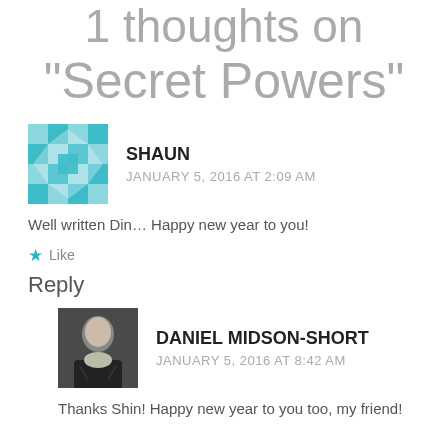1 thoughts on “Secret Powers”
SHAUN
JANUARY 5, 2016 AT 2:09 AM
Well written Din… Happy new year to you!
Like
Reply
DANIEL MIDSON-SHORT
JANUARY 5, 2016 AT 8:42 AM
Thanks Shin! Happy new year to you too, my friend!